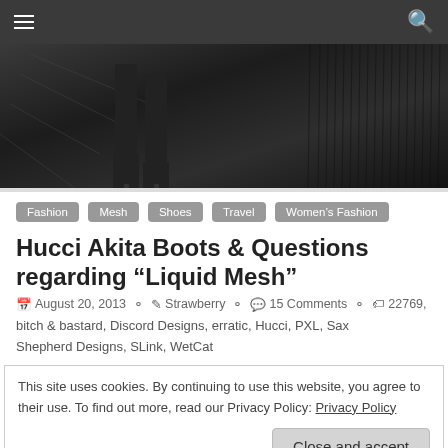[Figure (photo): Blog header image showing close-up of person wearing dark pants and high-heeled boots/shoes, dark moody background with vertical texture lines]
Fashion
Mesh
Shoes
Travel
Women's Fashion
Hucci Akita Boots & Questions regarding “Liquid Mesh”
August 20, 2013   Strawberry   15 Comments   22769, bitch & bastard, Discord Designs, erratic, Hucci, PXL, Sax Shepherd Designs, SLink, WetCat
This site uses cookies. By continuing to use this website, you agree to their use. To find out more, read our Privacy Policy: Privacy Policy
Close and accept